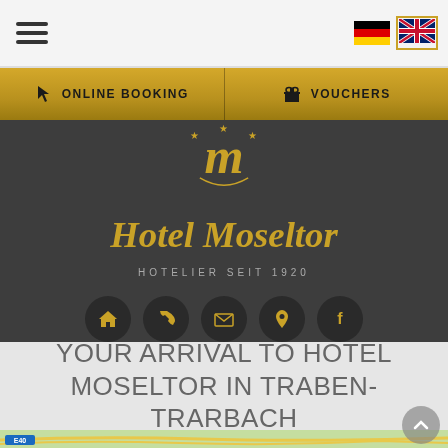[Figure (screenshot): Hotel Moseltor website screenshot showing navigation bar with hamburger menu and language flags (German and UK), gold booking bar with ONLINE BOOKING and VOUCHERS buttons, dark background hotel logo section with Hotel Moseltor script logo and HOTELIER SEIT 1920 tagline, social/contact icon row, arrival section with text YOUR ARRIVAL TO HOTEL MOSELTOR IN TRABEN-TRARBACH, and a partial map view at the bottom]
YOUR ARRIVAL TO HOTEL MOSELTOR IN TRABEN-TRARBACH